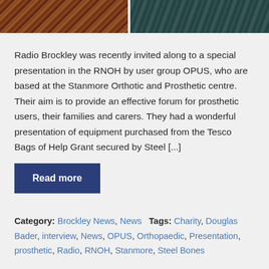[Figure (photo): Two photos side by side: left shows a brown/rust patterned item, right shows a dark teal/green textured surface]
Radio Brockley was recently invited along to a special presentation in the RNOH by user group OPUS, who are based at the Stanmore Orthotic and Prosthetic centre. Their aim is to provide an effective forum for prosthetic users, their families and carers. They had a wonderful presentation of equipment purchased from the Tesco Bags of Help Grant secured by Steel [...]
Read more
Category: Brockley News, News   Tags: Charity, Douglas Bader, interview, News, OPUS, Orthopaedic, Presentation, prosthetic, Radio, RNOH, Stanmore, Steel Bones